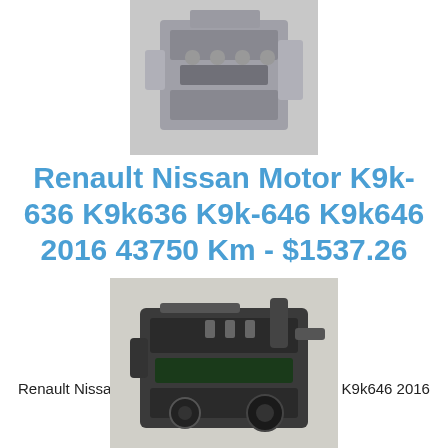[Figure (photo): Top partial view of a Renault Nissan K9k engine, showing the engine block and components from above]
Renault Nissan Motor K9k-636 K9k636 K9k-646 K9k646 2016 43750 Km - $1537.26
Renault Nissan Motor K9k-636 K9k636 K9k-646 K9k646 2016 43750 Km
[Figure (photo): Full view of a Renault Nissan K9k diesel engine unit showing the complete engine assembly]